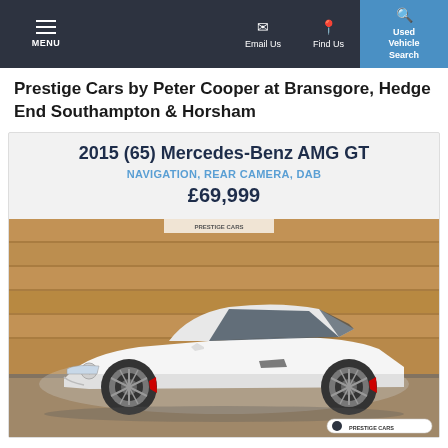MENU | Email Us | Find Us | Used Vehicle Search
Prestige Cars by Peter Cooper at Bransgore, Hedge End Southampton & Horsham
2015 (65) Mercedes-Benz AMG GT
NAVIGATION, REAR CAMERA, DAB
£69,999
[Figure (photo): White 2015 Mercedes-Benz AMG GT sports car photographed in a showroom with wood-panelled walls]